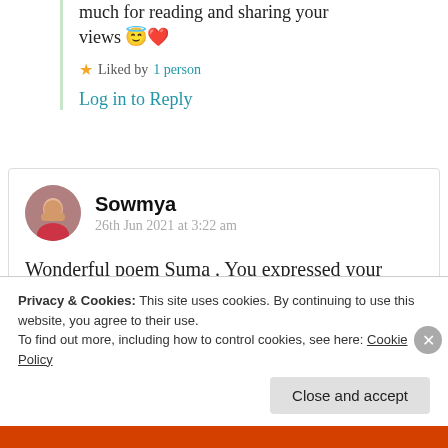much for reading and sharing your views 😇❤️
★ Liked by 1 person
Log in to Reply
Sowmya
26th Jun 2021 at 3:22 am
Wonderful poem Suma . You expressed your tears
beautifully well that turned out as pearls
Privacy & Cookies: This site uses cookies. By continuing to use this website, you agree to their use.
To find out more, including how to control cookies, see here: Cookie Policy
Close and accept